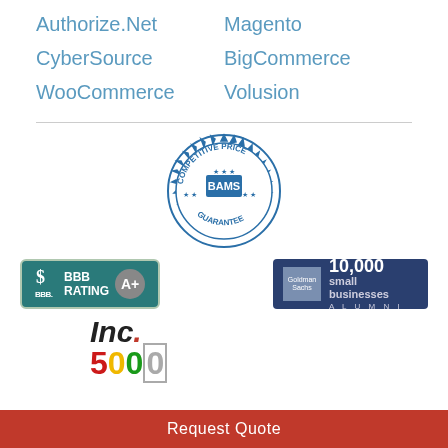Authorize.Net
Magento
CyberSource
BigCommerce
WooCommerce
Volusion
[Figure (logo): BAMS Competitive Price Guarantee seal — circular blue badge with serrated edge and star decorations]
[Figure (logo): BBB Rating A+ badge — dark teal rectangle with BBB logo and A+ rating circle]
[Figure (logo): Goldman Sachs 10,000 Small Businesses Alumni badge — dark navy rectangle]
[Figure (logo): Inc. 5000 logo — black italic Inc. with red dot and multicolor 5000 text]
Request Quote